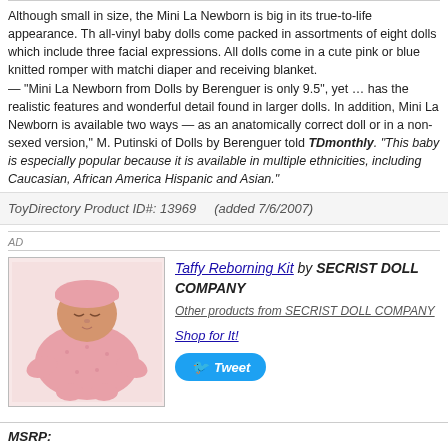Although small in size, the Mini La Newborn is big in its true-to-life appearance. These all-vinyl baby dolls come packed in assortments of eight dolls which include three facial expressions. All dolls come in a cute pink or blue knitted romper with matching diaper and receiving blanket. — "Mini La Newborn from Dolls by Berenguer is only 9.5", yet … has the realistic features and wonderful detail found in larger dolls. In addition, Mini La Newborn is available two ways — as an anatomically correct doll or in a non-sexed version," M. Putinski of Dolls by Berenguer told TDmonthly. "This baby is especially popular because it is available in multiple ethnicities, including Caucasian, African American, Hispanic and Asian."
ToyDirectory Product ID#: 13969     (added 7/6/2007)
AD
Taffy Reborning Kit by SECRIST DOLL COMPANY
Other products from SECRIST DOLL COMPANY
Shop for It!
Tweet
[Figure (photo): Photo of a baby doll dressed in pink fuzzy outfit and hat, appearing to be sleeping]
MSRP: